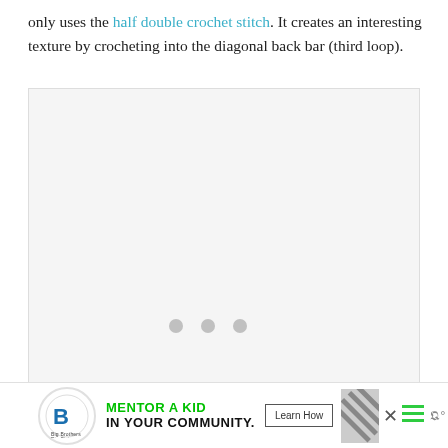only uses the half double crochet stitch. It creates an interesting texture by crocheting into the diagonal back bar (third loop).
[Figure (photo): Large image placeholder with light gray background and three gray dots in the center indicating loading state]
[Figure (infographic): Advertisement banner: Big Brothers Big Sisters of America logo, 'MENTOR A KID IN YOUR COMMUNITY.' text in green and black, 'Learn How' button, diagonal striped graphic, close button, hamburger menu icon, and Yelp-like icon]